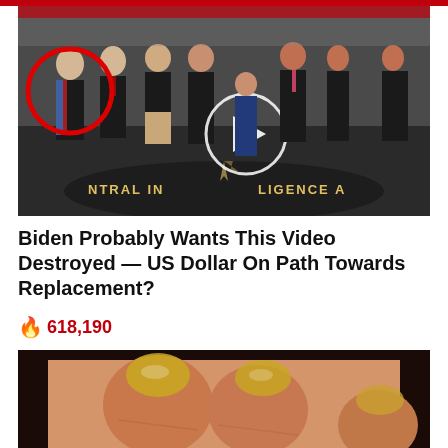[Figure (photo): Group of people in suits standing in front of CIA headquarters seal on floor, with a red circle highlighting one person on the left and a white play button circle in the center]
Biden Probably Wants This Video Destroyed — US Dollar On Path Towards Replacement?
🔥 618,190
[Figure (photo): Close-up photo of fingernails/toenails that appear yellowed or discolored]